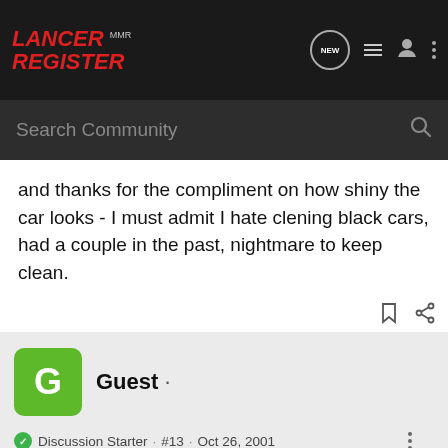Lancer Register MMR | Search Community
and thanks for the compliment on how shiny the car looks - I must admit I hate clening black cars, had a couple in the past, nightmare to keep clean.
Guest · Discussion Starter · #13 · Oct 26, 2001
No half as bad as white!